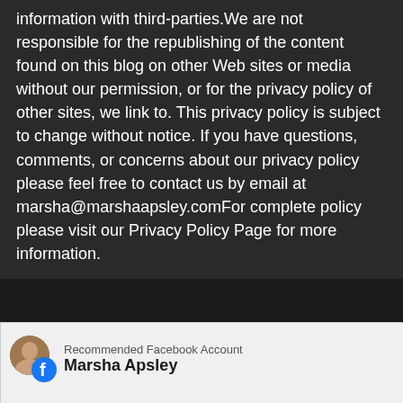information with third-parties.We are not responsible for the republishing of the content found on this blog on other Web sites or media without our permission, or for the privacy policy of other sites, we link to. This privacy policy is subject to change without notice. If you have questions, comments, or concerns about our privacy policy please feel free to contact us by email at marsha@marshaapsley.comFor complete policy please visit our Privacy Policy Page for more information.
[Figure (screenshot): Facebook 'Recommended Facebook Account' popup overlay showing Marsha Apsley with a Like button, partially covering the page content. A blue rectangle is visible in the bottom right. An 'X CLOSE' button is shown at the bottom right of the popup.]
We are using cookies to give you the best experience on our
ng or